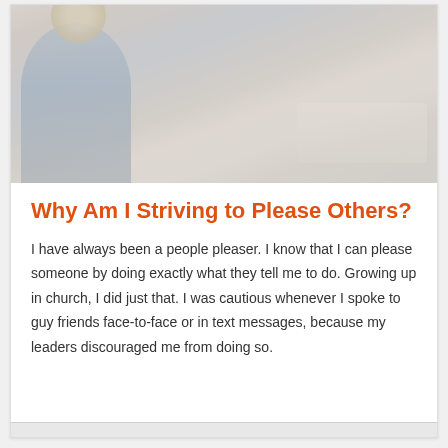[Figure (photo): A person viewed from behind, with light-colored hair, wearing a blue shirt, looking out toward a body of water at dusk or dawn with a soft pastel sky.]
Why Am I Striving to Please Others?
I have always been a people pleaser. I know that I can please someone by doing exactly what they tell me to do. Growing up in church, I did just that. I was cautious whenever I spoke to guy friends face-to-face or in text messages, because my leaders discouraged me from doing so.